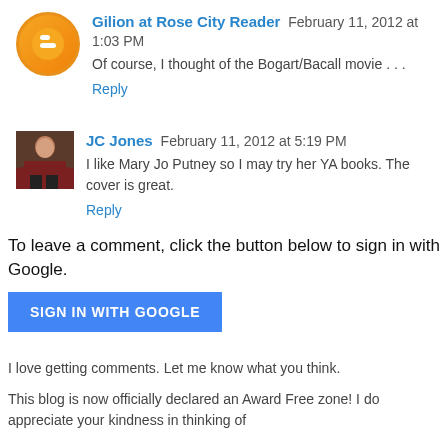Gilion at Rose City Reader  February 11, 2012 at 1:03 PM
Of course, I thought of the Bogart/Bacall movie . . .
Reply
JC Jones  February 11, 2012 at 5:19 PM
I like Mary Jo Putney so I may try her YA books. The cover is great.
Reply
To leave a comment, click the button below to sign in with Google.
SIGN IN WITH GOOGLE
I love getting comments. Let me know what you think.
This blog is now officially declared an Award Free zone! I do appreciate your kindness in thinking of